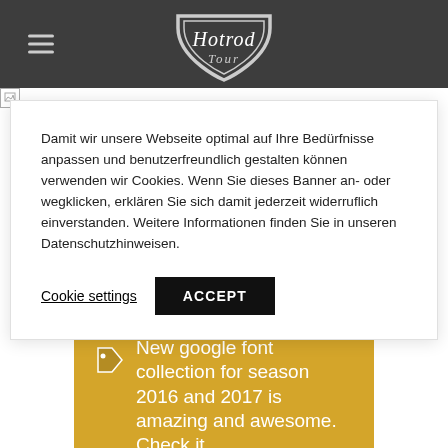Hotrod Tour
Damit wir unsere Webseite optimal auf Ihre Bedürfnisse anpassen und benutzerfreundlich gestalten können verwenden wir Cookies. Wenn Sie dieses Banner an- oder wegklicken, erklären Sie sich damit jederzeit widerruflich einverstanden. Weitere Informationen finden Sie in unseren Datenschutzhinweisen.
Cookie settings  ACCEPT
New google font collection for season 2016 and 2017 is amazing and awesome. Check it